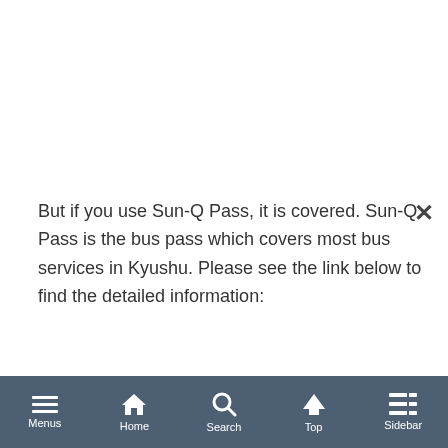But if you use Sun-Q Pass, it is covered. Sun-Q Pass is the bus pass which covers most bus services in Kyushu. Please see the link below to find the detailed information:
Sun-Q Pass (official site)
In my trip, I got on Airport shuttle bus from Kumamoto station to Kumamoto airport. I could catch the express bus to Takachiho at Kumamoto station. But I had to meet my mother at the airport. So I took the bus to airport. And then I got on the express bus to Takachiho. On next day, I got
Menus  Home  Search  Top  Sidebar